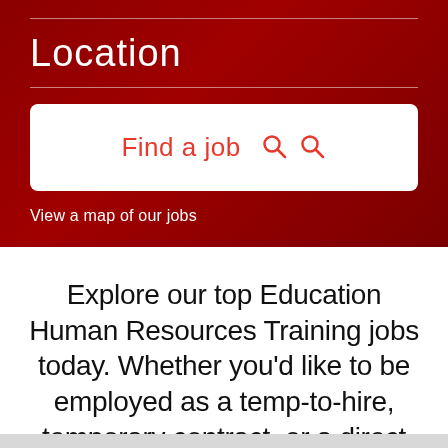Location
[Figure (screenshot): Search box with 'Find a job' text in red and two search magnifying glass icons in red, on a white rounded rectangle background.]
View a map of our jobs
Explore our top Education Human Resources Training jobs today. Whether you'd like to be employed as a temp-to-hire, temporary contract, or a direct hire employee, Adecco USA has a position for you